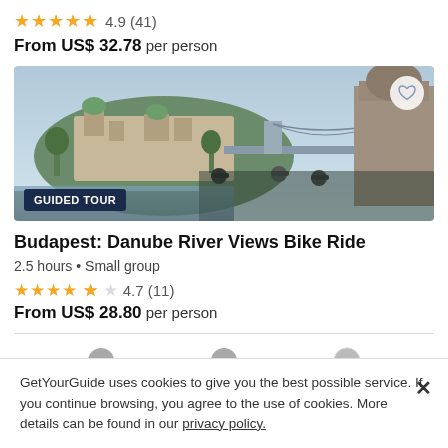4.9 (41)
From US$ 32.78 per person
[Figure (photo): Photo of Budapest Chain Bridge and Buda Castle with cyclists in foreground]
GUIDED TOUR
Budapest: Danube River Views Bike Ride
2.5 hours • Small group
4.7 (11)
From US$ 28.80 per person
GetYourGuide uses cookies to give you the best possible service. If you continue browsing, you agree to the use of cookies. More details can be found in our privacy policy.